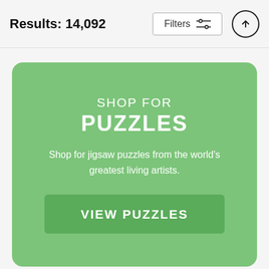Results: 14,092
[Figure (screenshot): Filters button with sliders icon and an up-arrow circle button]
[Figure (infographic): Green card with 'SHOP FOR PUZZLES' heading, description text, and VIEW PUZZLES button]